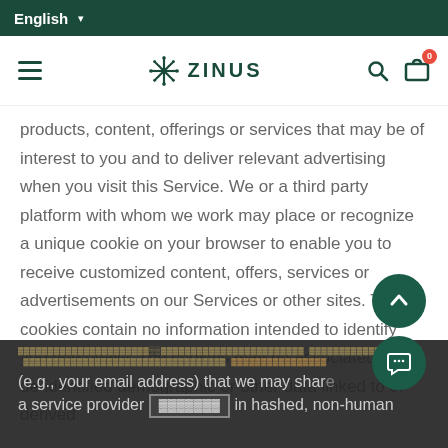English ▾
[Figure (logo): Zinus brand logo with snowflake icon, navigation hamburger, search icon, and cart with 0 items]
products, content, offerings or services that may be of interest to you and to deliver relevant advertising when you visit this Service. We or a third party platform with whom we work may place or recognize a unique cookie on your browser to enable you to receive customized content, offers, services or advertisements on our Services or other sites. These cookies contain no information intended to identify you personally. The cookies may be associated with de-identified demographic or other data linked to or derived from (e.g., your email address) that we may share with a service provider strictly in hashed, non-human